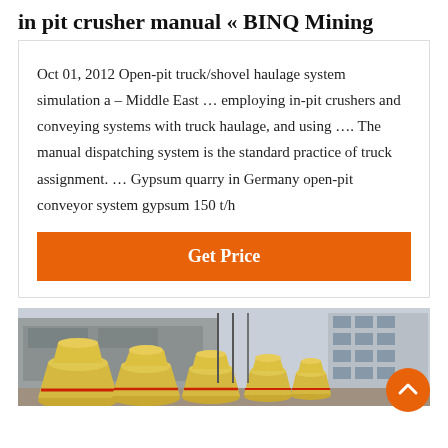in pit crusher manual « BINQ Mining
Oct 01, 2012 Open-pit truck/shovel haulage system simulation a – Middle East … employing in-pit crushers and conveying systems with truck haulage, and using …. The manual dispatching system is the standard practice of truck assignment. … Gypsum quarry in Germany open-pit conveyor system gypsum 150 t/h
Get Price
[Figure (photo): Photograph of multiple large yellow industrial cone crushers lined up outdoors in front of a multi-story building, with Chinese signage visible on a warehouse in the background.]